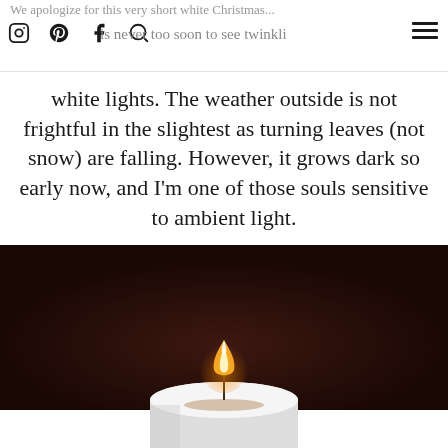We apologize for this very short white Christmas... [social icons] ...is never too soon to see twinkling [hamburger menu]
white lights. The weather outside is not frightful in the slightest as turning leaves (not snow) are falling. However, it grows dark so early now, and I'm one of those souls sensitive to ambient light.
[Figure (photo): A close-up photo of a white candle with a single lit flame against a very dark brown/near-black background. The bottom of the frame shows the white top of the candle.]